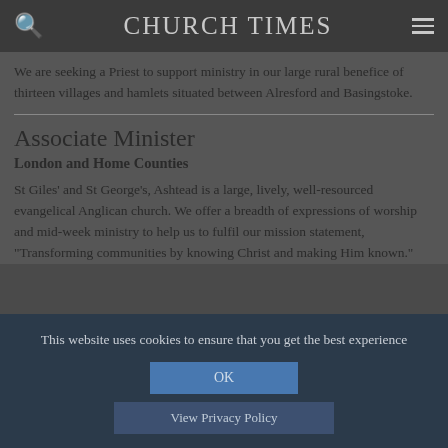CHURCH TIMES
We are seeking a Priest to support ministry in our large rural benefice of thirteen villages and hamlets situated between Alresford and Basingstoke.
Associate Minister
London and Home Counties
St Giles' and St George's, Ashtead is a large, lively, well-resourced evangelical Anglican church. We offer a breadth of expressions of worship and mid-week ministry to help us to fulfil our mission statement, "Transforming communities by knowing Christ and making Him known."
This website uses cookies to ensure that you get the best experience
OK
View Privacy Policy